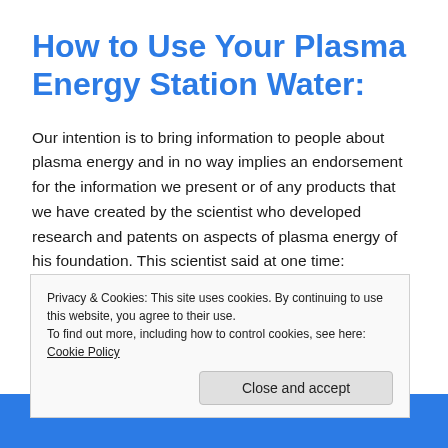How to Use Your Plasma Energy Station Water:
Our intention is to bring information to people about plasma energy and in no way implies an endorsement for the information we present or of any products that we have created by the scientist who developed research and patents on aspects of plasma energy of his foundation. This scientist said at one time:
Privacy & Cookies: This site uses cookies. By continuing to use this website, you agree to their use.
To find out more, including how to control cookies, see here: Cookie Policy
Close and accept